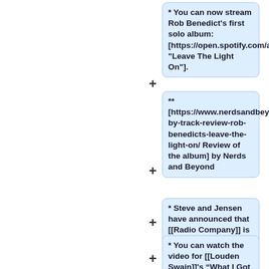* You can now stream Rob Benedict's first solo album: [https://open.spotify.com/album/5xBZpeSnhjz0wfFbvcLGRU "Leave The Light On"].
** [https://www.nerdsandbeyond.com/2022/01/21/track-by-track-review-rob-benedicts-leave-the-light-on/ Review of the album] by Nerds and Beyond
* Steve and Jensen have announced that [[Radio Company]] is working on a new album.
* You can watch the video for [[Louden Swain]]'s “What I Got Myself Into” [https://www.youtube.com/w